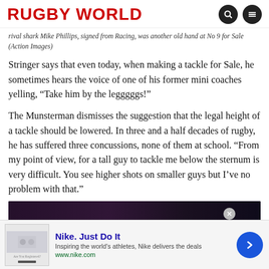RUGBY WORLD
rival shark Mike Phillips, signed from Racing, was another old hand at No 9 for Sale (Action Images)
Stringer says that even today, when making a tackle for Sale, he sometimes hears the voice of one of his former mini coaches yelling, “Take him by the legggggs!”
The Munsterman dismisses the suggestion that the legal height of a tackle should be lowered. In three and a half decades of rugby, he has suffered three concussions, none of them at school. “From my point of view, for a tall guy to tackle me below the sternum is very difficult. You see higher shots on smaller guys but I’ve no problem with that.”
[Figure (photo): Dark photo strip at the bottom of the article content area]
[Figure (infographic): Nike advertisement banner: Nike. Just Do It. Inspiring the world’s athletes, Nike delivers the deals. www.nike.com]